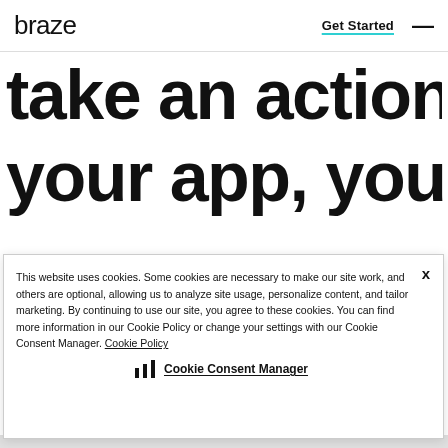braze | Get Started
take an action in your app, you
This website uses cookies. Some cookies are necessary to make our site work, and others are optional, allowing us to analyze site usage, personalize content, and tailor marketing. By continuing to use our site, you agree to these cookies. You can find more information in our Cookie Policy or change your settings with our Cookie Consent Manager. Cookie Policy
Cookie Consent Manager